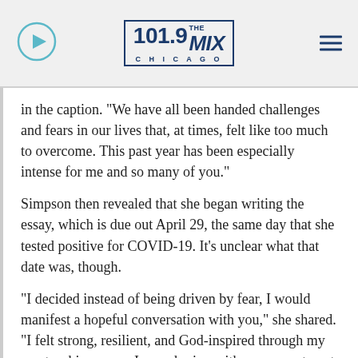101.9 THE MIX CHICAGO
in the caption. “We have all been handed challenges and fears in our lives that, at times, felt like too much to overcome. This past year has been especially intense for me and so many of you.”
Simpson then revealed that she began writing the essay, which is due out April 29, the same day that she tested positive for COVID-19. It’s unclear what that date was, though.
“I decided instead of being driven by fear, I would manifest a hopeful conversation with you,” she shared. “I felt strong, resilient, and God-inspired through my pen teaching me as I was sharing with you ways to get to the other side of fear.”